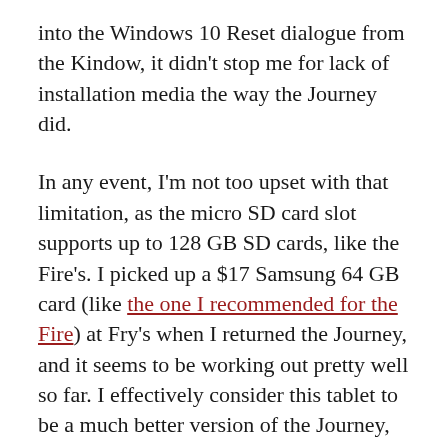into the Windows 10 Reset dialogue from the Kindow, it didn't stop me for lack of installation media the way the Journey did.
In any event, I'm not too upset with that limitation, as the micro SD card slot supports up to 128 GB SD cards, like the Fire's. I picked up a $17 Samsung 64 GB card (like the one I recommended for the Fire) at Fry's when I returned the Journey, and it seems to be working out pretty well so far. I effectively consider this tablet to be a much better version of the Journey, with a bigger screen, 2 GB of RAM instead of 1, and the added ability to boot into a decent Android mode as an unexpected extra bonus.